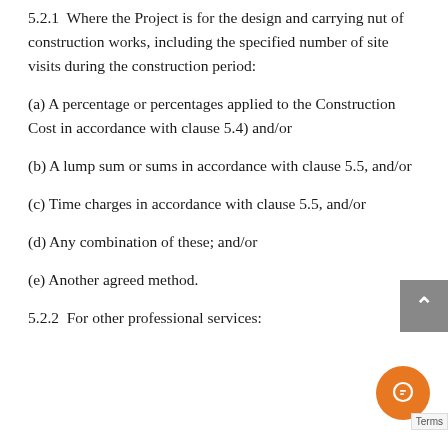5.2.1  Where the Project is for the design and carrying nut of construction works, including the specified number of site visits during the construction period:
(a) A percentage or percentages applied to the Construction Cost in accordance with clause 5.4) and/or
(b) A lump sum or sums in accordance with clause 5.5, and/or
(c) Time charges in accordance with clause 5.5, and/or
(d) Any combination of these; and/or
(e) Another agreed method.
5.2.2  For other professional services: